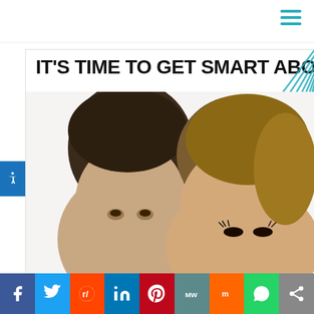[Figure (screenshot): Website header with hamburger menu icon (three teal horizontal lines) in top-right corner on white background]
[Figure (photo): Cropped promotional image showing two people (a young man and a young woman) with text 'IT'S TIME TO GET SMART ABO...' and teal decorative diagonal lines in the top-right area]
[Figure (other): Social sharing bar with icons for Facebook, Twitter, Reddit, LinkedIn, Pinterest, MixedWeeds, Mix, WhatsApp, and Share]